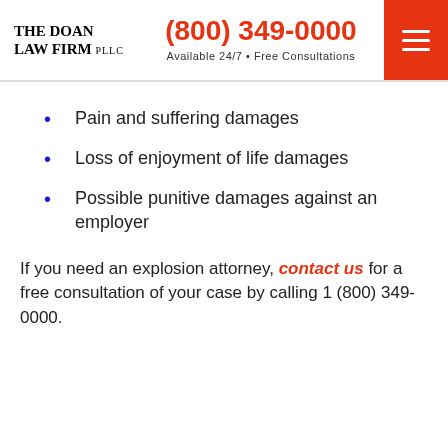THE DOAN LAW FIRM PLLC | (800) 349-0000 | Available 24/7 • Free Consultations
Pain and suffering damages
Loss of enjoyment of life damages
Possible punitive damages against an employer
If you need an explosion attorney, contact us for a free consultation of your case by calling 1 (800) 349-0000.